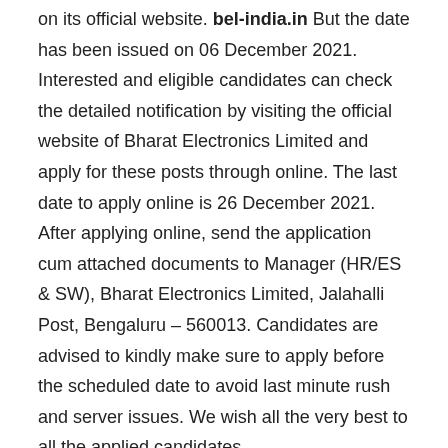on its official website. bel-india.in But the date has been issued on 06 December 2021. Interested and eligible candidates can check the detailed notification by visiting the official website of Bharat Electronics Limited and apply for these posts through online. The last date to apply online is 26 December 2021. After applying online, send the application cum attached documents to Manager (HR/ES & SW), Bharat Electronics Limited, Jalahalli Post, Bengaluru – 560013. Candidates are advised to kindly make sure to apply before the scheduled date to avoid last minute rush and server issues. We wish all the very best to all the applied candidates.
BEL Project Eng Recruitment 2022 For 36 Vacancies All the related information like age, qualification, pay scale etc. https://winitra.com/ Get it through this post. Before applying, candidates should read the departmental notification and guidelines carefully and check the eligibility criteria themselves. Interested candidates are advised to check their eligibility, age